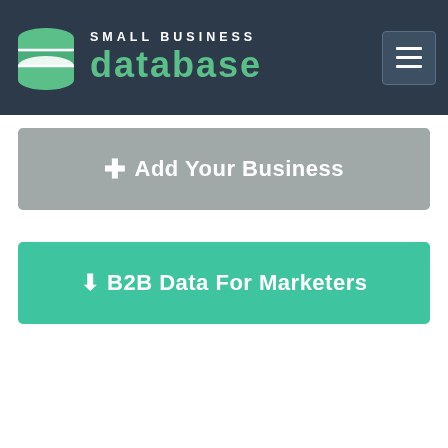[Figure (logo): Small Business Database logo with green database icon on dark navy header, hamburger menu icon on right]
+ Add Your Business
B2B Data For Marketers
Support